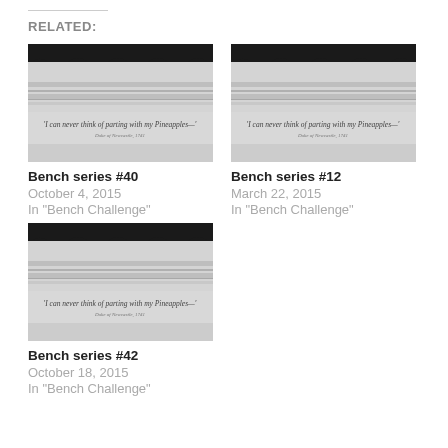RELATED:
[Figure (photo): Bench series image showing a decorative wooden bench with scalloped top edge and italic text reading 'I can never think of parting with my Pineapples' — Duke of Newcastle, 1741]
Bench series #40
October 4, 2015
In "Bench Challenge"
[Figure (photo): Bench series image showing a decorative wooden bench with scalloped top edge and italic text reading 'I can never think of parting with my Pineapples' — Duke of Newcastle, 1741]
Bench series #12
March 22, 2015
In "Bench Challenge"
[Figure (photo): Bench series image showing a decorative wooden bench with scalloped top edge and italic text reading 'I can never think of parting with my Pineapples' — Duke of Newcastle, 1741]
Bench series #42
October 18, 2015
In "Bench Challenge"